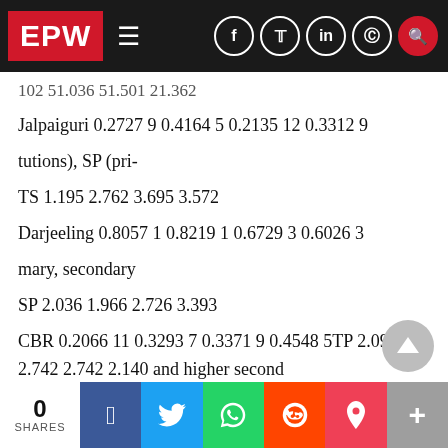EPW
...102 51.036 51.501 21.362
Jalpaiguri 0.2727 9 0.4164 5 0.2135 12 0.3312 9
tutions), SP (pri-
TS 1.195 2.762 3.695 3.572
Darjeeling 0.8057 1 0.8219 1 0.6729 3 0.6026 3
mary, secondary
SP 2.036 1.966 2.726 3.393
CBR 0.2066 11 0.3293 7 0.3371 9 0.4548 5TP 2.090 2.742 2.742 2.140 and higher second
Purulia 0.3115 5 0.5413 2 0.6807 2 0.6034 2 To
(Σ) 14.458 15.937 18.096 16.70 ary schools), T...